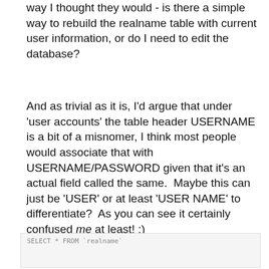way I thought they would - is there a simple way to rebuild the realname table with current user information, or do I need to edit the database?
And as trivial as it is, I'd argue that under 'user accounts' the table header USERNAME is a bit of a misnomer, I think most people would associate that with USERNAME/PASSWORD given that it's an actual field called the same.  Maybe this can just be 'USER' or at least 'USER NAME' to differentiate?  As you can see it certainly confused me at least! :)
SELECT * FROM `realname`